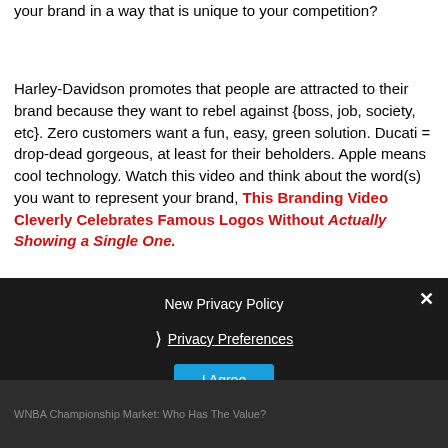your brand in a way that is unique to your competition?
Harley-Davidson promotes that people are attracted to their brand because they want to rebel against {boss, job, society, etc}. Zero customers want a fun, easy, green solution. Ducati = drop-dead gorgeous, at least for their beholders. Apple means cool technology. Watch this video and think about the word(s) you want to represent your brand, This Branding Video Cleverly Celebrates Famous Logos Without Actually Showing a Single One.
New Privacy Policy
Privacy Preferences
I Agree
WNBA Championship Market: Who Has The Value?